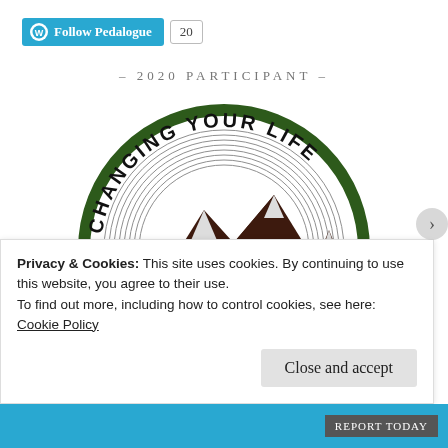[Figure (logo): WordPress Follow Pedalogue button with follower count 20]
– 2020 PARTICIPANT –
[Figure (logo): Semi-circular badge logo with text 'CHANGING YOUR LIFE' arced around the top and mountain peaks illustration in dark brown, with dark green circle border]
Privacy & Cookies: This site uses cookies. By continuing to use this website, you agree to their use.
To find out more, including how to control cookies, see here:
Cookie Policy
Close and accept